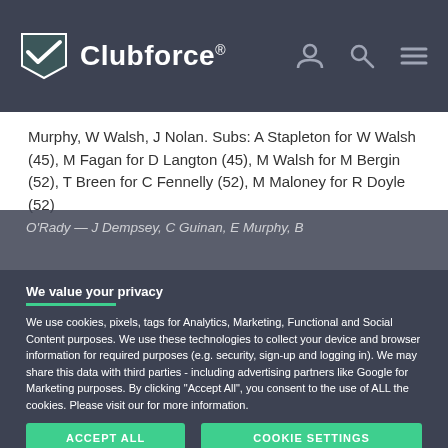Clubforce®
Murphy, W Walsh, J Nolan. Subs: A Stapleton for W Walsh (45), M Fagan for D Langton (45), M Walsh for M Bergin (52), T Breen for C Fennelly (52), M Maloney for R Doyle (52)
O'Rady — J Dempsey, C Guinan, E Murphy, B
We value your privacy
We use cookies, pixels, tags for Analytics, Marketing, Functional and Social Content purposes. We use these technologies to collect your device and browser information for required purposes (e.g. security, sign-up and logging in). We may share this data with third parties - including advertising partners like Google for Marketing purposes. By clicking "Accept All", you consent to the use of ALL the cookies. Please visit our for more information.